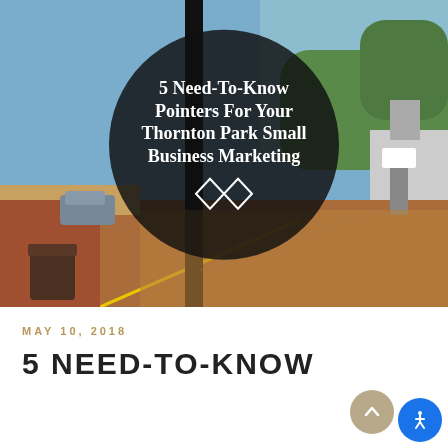[Figure (photo): Street scene of Thornton Park neighborhood with brick road, utility pole, cars, and trees. A large dark semi-transparent circle overlay contains white bold text and two diamond shapes as a logo.]
5 Need-To-Know Pointers For Your Thornton Park Small Business Marketing
MAY 10, 2018
5 NEED-TO-KNOW